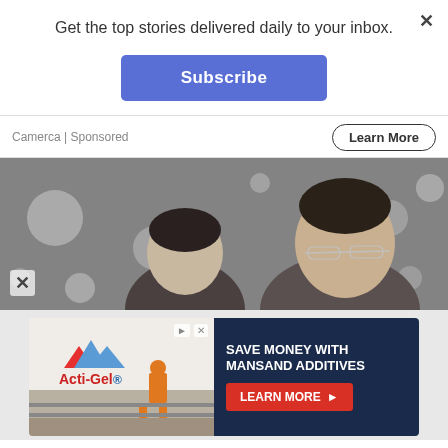Get the top stories delivered daily to your inbox.
[Figure (screenshot): Subscribe button — blue rounded rectangle with white bold text 'Subscribe']
Camerca | Sponsored
[Figure (screenshot): Learn More button — bordered rounded rectangle with text 'Learn More']
[Figure (photo): Black and white photo of two people: a young woman with dark hair pulled back and heavy makeup on the left, and an older man wearing glasses on the right, against a blurred bokeh background]
[Figure (screenshot): Advertisement banner for Acti-Gel with Mansand Additives. Left side shows Acti-Gel logo with mountains and a construction worker image. Right side on dark navy background reads 'SAVE MONEY WITH MANSAND ADDITIVES' with a red 'LEARN MORE' button with arrow.]